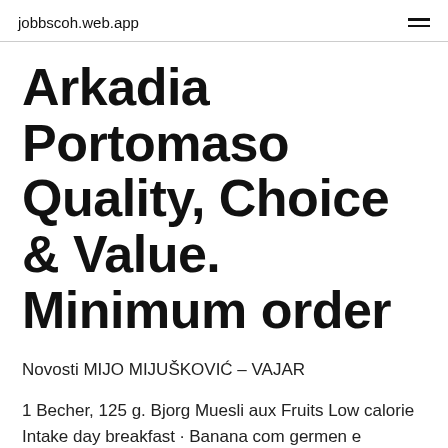jobbscoh.web.app
Arkadia Portomaso Quality, Choice & Value. Minimum order
Novosti MIJO MIJUŠKOVIĆ – VAJAR
1 Becher, 125 g. Bjorg Muesli aux Fruits Low calorie Intake day breakfast · Banana com germen e